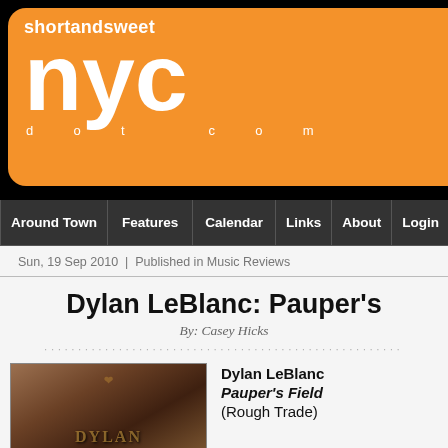[Figure (logo): shortandsweet NYC dot com logo on orange rounded rectangle background with 9 category icons (film, lipstick, books, dining, cityscape, art, speech, cocktail, music) in a 3x3 grid]
Around Town | Features | Calendar | Links | About | Login
Sun, 19 Sep 2010 | Published in Music Reviews
Dylan LeBlanc: Pauper's
By: Casey Hicks
[Figure (photo): Sepia-toned album cover for Dylan LeBlanc Pauper's Field showing decorative text in an outdoor setting]
Dylan LeBlanc
Pauper's Field
(Rough Trade)